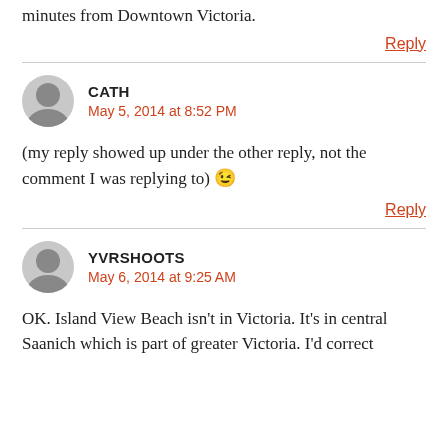minutes from Downtown Victoria.
Reply
CATH
May 5, 2014 at 8:52 PM
(my reply showed up under the other reply, not the comment I was replying to) 😉
Reply
YVRSHOOTS
May 6, 2014 at 9:25 AM
OK. Island View Beach isn't in Victoria. It's in central Saanich which is part of greater Victoria. I'd correct